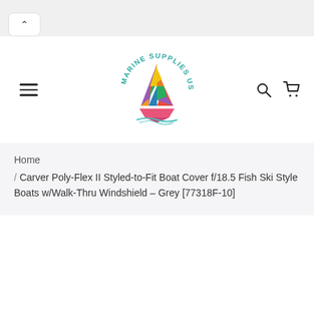Marine Supplies US - navigation header with logo, menu, search and cart icons
Home
/ Carver Poly-Flex II Styled-to-Fit Boat Cover f/18.5 Fish Ski Style Boats w/Walk-Thru Windshield - Grey [77318F-10]